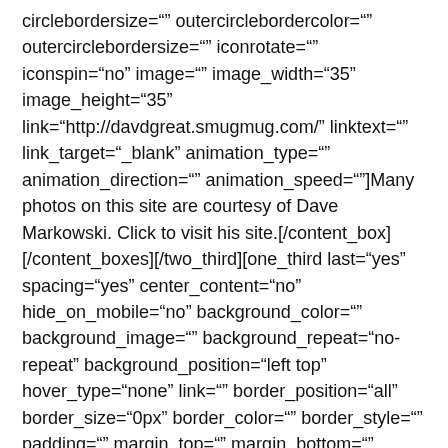circlebordersize="" outercirclebordercolor="" outercirclebordersize="" iconrotate="" iconspin="no" image="" image_width="35" image_height="35" link="http://davdgreat.smugmug.com/" linktext="" link_target="_blank" animation_type="" animation_direction="" animation_speed=""]Many photos on this site are courtesy of Dave Markowski. Click to visit his site.[/content_box] [/content_boxes][/two_third][one_third last="yes" spacing="yes" center_content="no" hide_on_mobile="no" background_color="" background_image="" background_repeat="no-repeat" background_position="left top" hover_type="none" link="" border_position="all" border_size="0px" border_color="" border_style="" padding="" margin_top="" margin_bottom=""